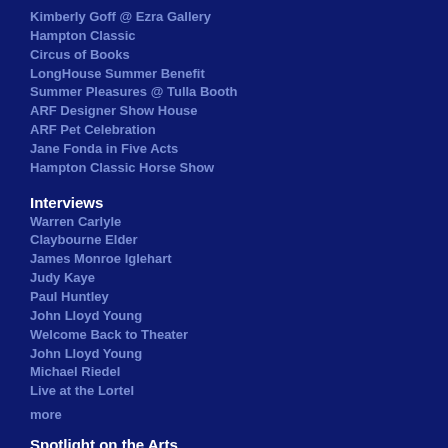Kimberly Goff @ Ezra Gallery
Hampton Classic
Circus of Books
LongHouse Summer Benefit
Summer Pleasures @ Tulla Booth
ARF Designer Show House
ARF Pet Celebration
Jane Fonda in Five Acts
Hampton Classic Horse Show
Interviews
Warren Carlyle
Claybourne Elder
James Monroe Iglehart
Judy Kaye
Paul Huntley
John Lloyd Young
Welcome Back to Theater
John Lloyd Young
Michael Riedel
Live at the Lortel
more
Spotlight on the Arts